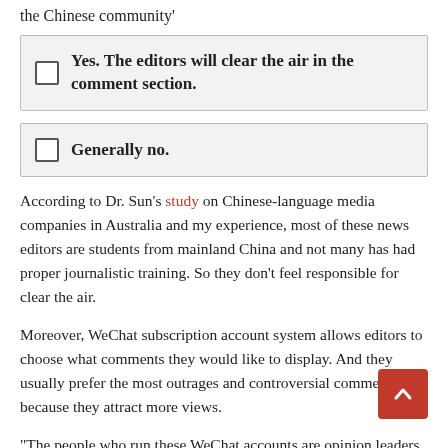the Chinese community'
Yes. The editors will clear the air in the comment section.
Generally no.
According to Dr. Sun's study on Chinese-language media companies in Australia and my experience, most of these news editors are students from mainland China and not many has had proper journalistic training. So they don't feel responsible for clear the air.
Moreover, WeChat subscription account system allows editors to choose what comments they would like to display. And they usually prefer the most outrages and controversial comments because they attract more views.
“The people who run these WeChat accounts are opinion leaders because they choose what to put up there,” Dr Nin…